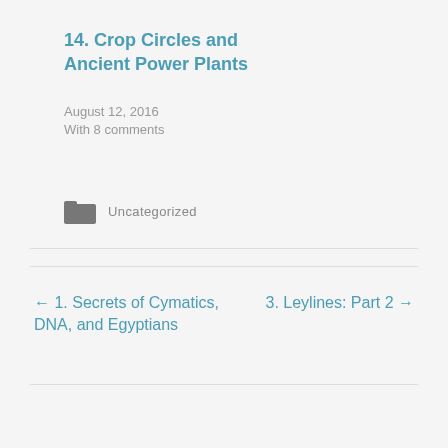14. Crop Circles and Ancient Power Plants
August 12, 2016
With 8 comments
Uncategorized
← 1. Secrets of Cymatics, DNA, and Egyptians
3. Leylines: Part 2 →